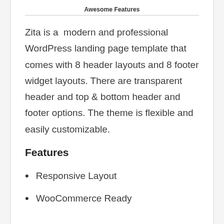Awesome Features
Zita is a  modern and professional WordPress landing page template that comes with 8 header layouts and 8 footer widget layouts. There are transparent header and top & bottom header and footer options. The theme is flexible and easily customizable.
Features
Responsive Layout
WooCommerce Ready